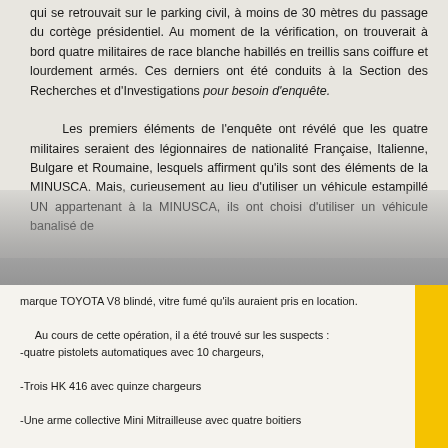qui se retrouvait sur le parking civil, à moins de 30 mètres du passage du cortège présidentiel. Au moment de la vérification, on trouverait à bord quatre militaires de race blanche habillés en treillis sans coiffure et lourdement armés. Ces derniers ont été conduits à la Section des Recherches et d'Investigations pour besoin d'enquête.

Les premiers éléments de l'enquête ont révélé que les quatre militaires seraient des légionnaires de nationalité Française, Italienne, Bulgare et Roumaine, lesquels affirment qu'ils sont des éléments de la MINUSCA. Mais, curieusement au lieu d'utiliser un véhicule estampillé UN appartenant à la MINUSCA, ils ont choisi d'utiliser un véhicule banalisé de
marque TOYOTA V8 blindé, vitre fumé qu'ils auraient pris en location.

Au cours de cette opération, il a été trouvé sur les suspects :
-quatre pistolets automatiques avec 10 chargeurs,
-Trois HK 416 avec quinze chargeurs
-Une arme collective Mini Mitrailleuse avec quatre boitiers
-Des grenades offensives et divers effets militaires.